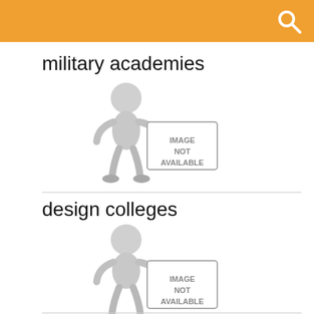military academies
[Figure (illustration): 3D cartoon figure holding a sign that reads IMAGE NOT AVAILABLE]
design colleges
[Figure (illustration): 3D cartoon figure holding a sign that reads IMAGE NOT AVAILABLE]